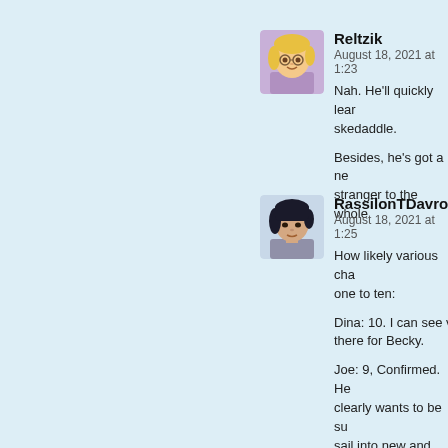[Figure (illustration): Cartoon avatar of Reltzik, a blonde character with glasses wearing a purple outfit]
Reltzik
August 18, 2021 at 1:23
Nah. He'll quickly learn to skedaddle.

Besides, he's got a new stranger to the whole
[Figure (illustration): Cartoon avatar of RassilonTDavros, a dark-haired character]
RassilonTDavros
August 18, 2021 at 1:25
How likely various cha one to ten:

Dina: 10. I can see vi there for Becky.

Joe: 9, Confirmed. He clearly wants to be su sail into new and exci

Danny: 6. Isn't directly enough mutual friends impossible, and gene people.

Ethan: 2. Not impossi here, but I think he's b